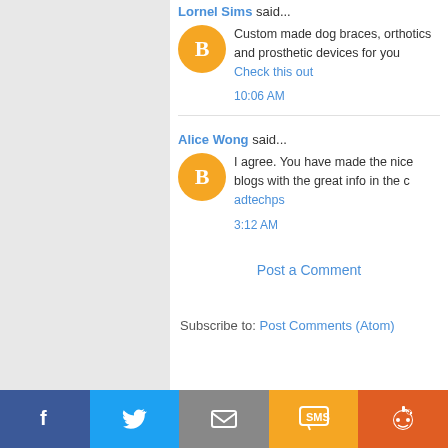Lornel Sims said...
Custom made dog braces, orthotics and prosthetic devices for you
Check this out
10:06 AM
Alice Wong said...
I agree. You have made the nice blogs with the great info in the c
adtechps
3:12 AM
Post a Comment
Subscribe to: Post Comments (Atom)
[Figure (infographic): Social share bar with Facebook, Twitter, Email, SMS, and Reddit buttons]